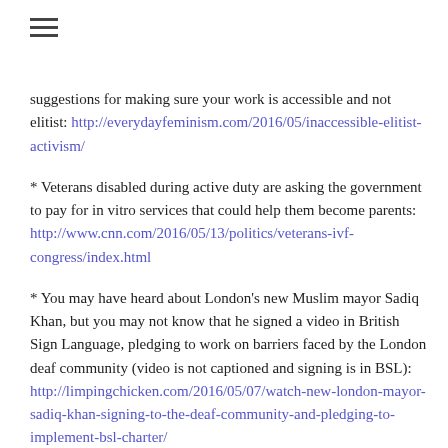suggestions for making sure your work is accessible and not elitist: http://everydayfeminism.com/2016/05/inaccessible-elitist-activism/
* Veterans disabled during active duty are asking the government to pay for in vitro services that could help them become parents: http://www.cnn.com/2016/05/13/politics/veterans-ivf-congress/index.html
* You may have heard about London's new Muslim mayor Sadiq Khan, but you may not know that he signed a video in British Sign Language, pledging to work on barriers faced by the London deaf community (video is not captioned and signing is in BSL): http://limpingchicken.com/2016/05/07/watch-new-london-mayor-sadiq-khan-signing-to-the-deaf-community-and-pledging-to-implement-bsl-charter/